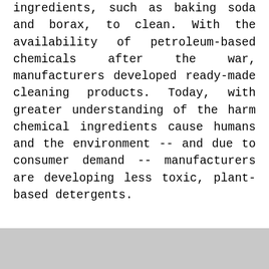ingredients, such as baking soda and borax, to clean. With the availability of petroleum-based chemicals after the war, manufacturers developed ready-made cleaning products. Today, with greater understanding of the harm chemical ingredients cause humans and the environment -- and due to consumer demand -- manufacturers are developing less toxic, plant-based detergents.